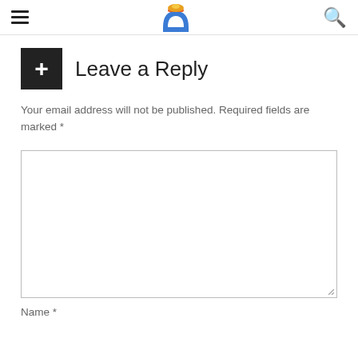Leave a Reply
Your email address will not be published. Required fields are marked *
[Figure (other): Empty comment textarea input field with resize handle]
Name *